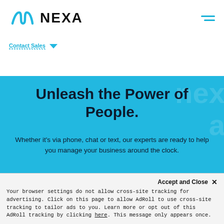NEXA
Whether it's via phone, chat or text, our experts are ready to help you manage your business around the clock.
Unleash the Power of People.
Accept and Close ×
Your browser settings do not allow cross-site tracking for advertising. Click on this page to allow AdRoll to use cross-site tracking to tailor ads to you. Learn more or opt out of this AdRoll tracking by clicking here. This message only appears once.